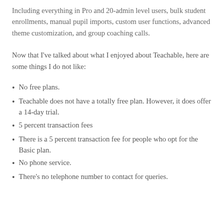Including everything in Pro and 20-admin level users, bulk student enrollments, manual pupil imports, custom user functions, advanced theme customization, and group coaching calls.
Now that I've talked about what I enjoyed about Teachable, here are some things I do not like:
No free plans.
Teachable does not have a totally free plan. However, it does offer a 14-day trial.
5 percent transaction fees
There is a 5 percent transaction fee for people who opt for the Basic plan.
No phone service.
There's no telephone number to contact for queries.